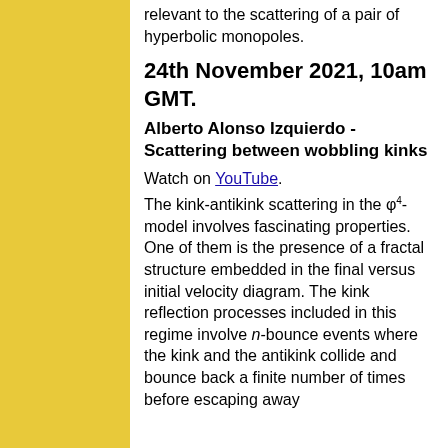relevant to the scattering of a pair of hyperbolic monopoles.
24th November 2021, 10am GMT.
Alberto Alonso Izquierdo - Scattering between wobbling kinks
Watch on YouTube.
The kink-antikink scattering in the φ4-model involves fascinating properties. One of them is the presence of a fractal structure embedded in the final versus initial velocity diagram. The kink reflection processes included in this regime involve n-bounce events where the kink and the antikink collide and bounce back a finite number of times before escaping away